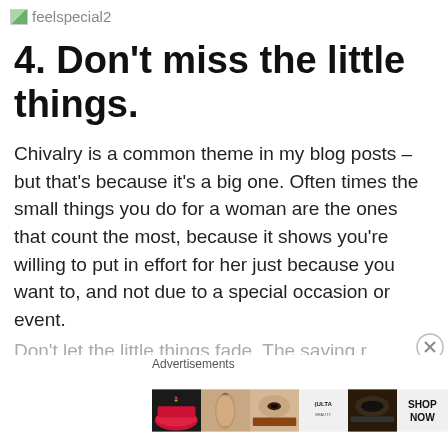feelspecial2
4. Don't miss the little things.
Chivalry is a common theme in my blog posts – but that's because it's a big one. Often times the small things you do for a woman are the ones that count the most, because it shows you're willing to put in effort for her just because you want to, and not due to a special occasion or event.
Don't let the little things fade. The saying r
[Figure (photo): ULTA beauty advertisement banner showing makeup/cosmetics themed images: lips with red lipstick, makeup brush, eye with makeup, ULTA logo, eye makeup close-up, and SHOP NOW button]
Advertisements